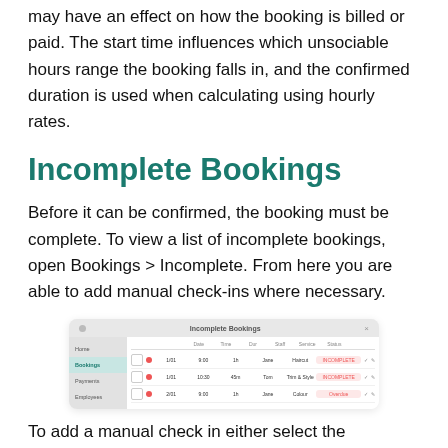may have an effect on how the booking is billed or paid. The start time influences which unsociable hours range the booking falls in, and the confirmed duration is used when calculating using hourly rates.
Incomplete Bookings
Before it can be confirmed, the booking must be complete. To view a list of incomplete bookings, open Bookings > Incomplete. From here you are able to add manual check-ins where necessary.
[Figure (screenshot): Screenshot of Incomplete Bookings interface showing a list of incomplete bookings with red status badges and action icons]
To add a manual check in either select the booking(s) you want to check in to, or click on the pencil icon on the right hand side and confirm